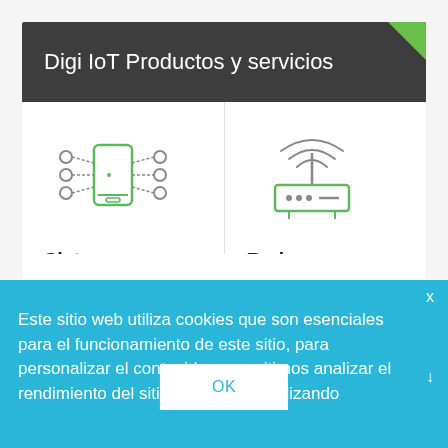Digi IoT Productos y servicios
[Figure (illustration): IoT mobile/device ecosystem icon: a smartphone connected to various circuit nodes, outlined in green and gray]
Sistemas integrados
[Figure (illustration): Network router/modem icon with wireless signal waves above it, outlined in green and gray]
Red
Mantenga un flujo constante
Este sitio web utiliza cookies que son esenciales para el funcionamiento de este sitio, para personalizar el contenido y permitirnos analizar el rendimiento del sitio. Si continúa utilizando
OK